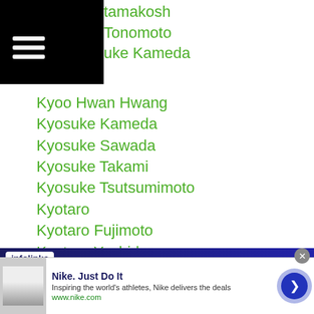tamakosh
Tonomoto
uke Kameda
Kyoo Hwan Hwang
Kyosuke Kameda
Kyosuke Sawada
Kyosuke Takami
Kyosuke Tsutsumimoto
Kyotaro
Kyotaro Fujimoto
Kyotaro Yoshida
Kyung Hwan Song
Kyung Min Kwon
Lande-olin
Lap Cheong Cheong
Larry Siwu
[Figure (screenshot): Infolinks advertisement bar with Nike ad: 'Nike. Just Do It' - Inspiring the world's athletes, Nike delivers the deals. www.nike.com]